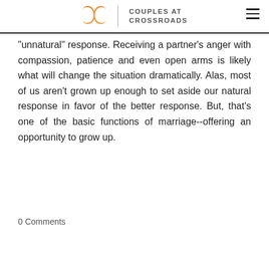Couples at Crossroads
"unnatural" response. Receiving a partner's anger with compassion, patience and even open arms is likely what will change the situation dramatically. Alas, most of us aren't grown up enough to set aside our natural response in favor of the better response. But, that's one of the basic functions of marriage--offering an opportunity to grow up.
[Figure (other): Tweet button with Twitter bird icon]
0 Comments